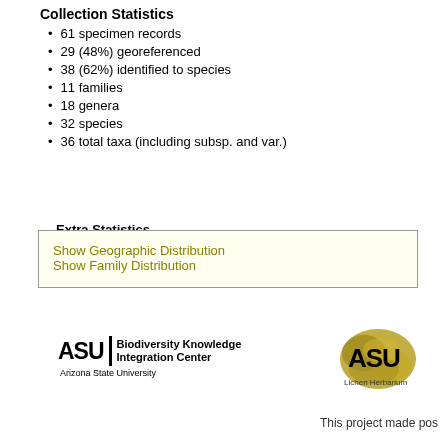Collection Statistics
61 specimen records
29 (48%) georeferenced
38 (62%) identified to species
11 families
18 genera
32 species
36 total taxa (including subsp. and var.)
Extra Statistics
Show Geographic Distribution
Show Family Distribution
[Figure (logo): ASU Biodiversity Knowledge Integration Center, Arizona State University logo]
[Figure (logo): ASU Lichen Herbarium logo with lichen image]
This project made pos